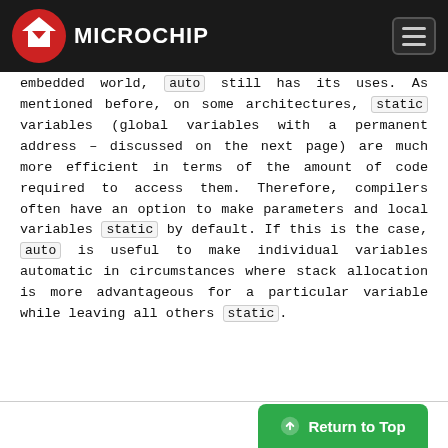Microchip
embedded world, auto still has its uses. As mentioned before, on some architectures, static variables (global variables with a permanent address – discussed on the next page) are much more efficient in terms of the amount of code required to access them. Therefore, compilers often have an option to make parameters and local variables static by default. If this is the case, auto is useful to make individual variables automatic in circumstances where stack allocation is more advantageous for a particular variable while leaving all others static.